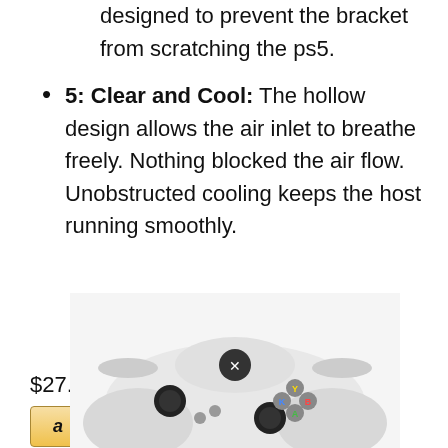designed to prevent the bracket from scratching the ps5.
5: Clear and Cool: The hollow design allows the air inlet to breathe freely. Nothing blocked the air flow. Unobstructed cooling keeps the host running smoothly.
$27.99 Prime
[Figure (photo): Xbox controller, white, photographed from above on a white background]